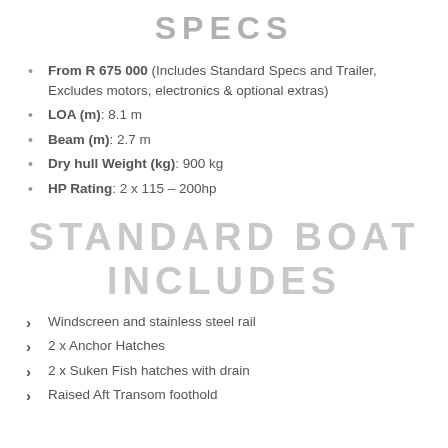SPECS
From R 675 000 (Includes Standard Specs and Trailer, Excludes motors, electronics & optional extras)
LOA (m): 8.1 m
Beam (m): 2.7 m
Dry hull Weight (kg): 900 kg
HP Rating: 2 x 115 – 200hp
STANDARD BOAT INCLUDES
Windscreen and stainless steel rail
2 x Anchor Hatches
2 x Suken Fish hatches with drain
Raised Aft Transom foothold...